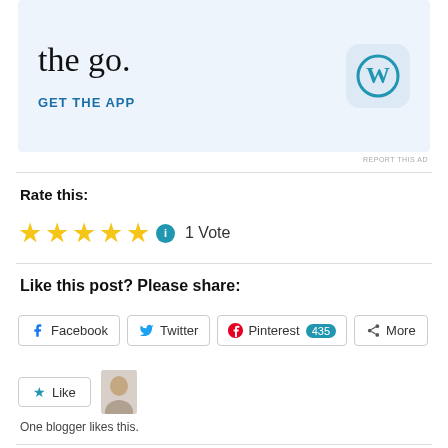[Figure (screenshot): WordPress app advertisement banner with text 'the go.' and GET THE APP link, with WordPress logo icon]
REPORT THIS AD
Rate this:
[Figure (other): 5 gold stars rating with info icon and '1 Vote' text]
Like this post? Please share:
[Figure (other): Social share buttons: Facebook, Twitter, Pinterest (435), More]
[Figure (other): Like button with star icon and blogger avatar thumbnail]
One blogger likes this.